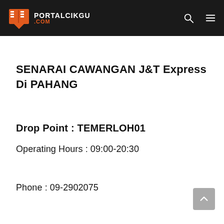PORTALCIKGU .COM
SENARAI CAWANGAN J&T Express Di PAHANG
Drop Point : TEMERLOH01
Operating Hours : 09:00-20:30
Phone : 09-2902075